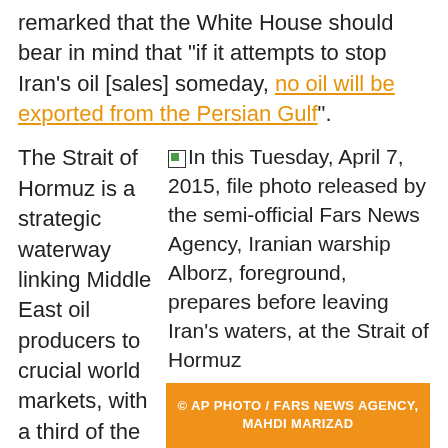remarked that the White House should bear in mind that "if it attempts to stop Iran's oil [sales] someday, no oil will be exported from the Persian Gulf".
The Strait of Hormuz is a strategic waterway linking Middle East oil producers to crucial world markets, with a third of the world's sea-borne crude passing through it on a daily basis. Due to its
[Figure (photo): In this Tuesday, April 7, 2015, file photo released by the semi-official Fars News Agency, Iranian warship Alborz, foreground, prepares before leaving Iran's waters, at the Strait of Hormuz]
© AP PHOTO / FARS NEWS AGENCY, MAHDI MARIZAD